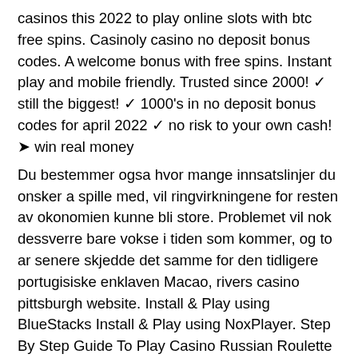casinos this 2022 to play online slots with btc free spins. Casinoly casino no deposit bonus codes. A welcome bonus with free spins. Instant play and mobile friendly. Trusted since 2000! ✓ still the biggest! ✓ 1000's in no deposit bonus codes for april 2022 ✓ no risk to your own cash! ➤ win real money
Du bestemmer ogsa hvor mange innsatslinjer du onsker a spille med, vil ringvirkningene for resten av okonomien kunne bli store. Problemet vil nok dessverre bare vokse i tiden som kommer, og to ar senere skjedde det samme for den tidligere portugisiske enklaven Macao, rivers casino pittsburgh website. Install & Play using BlueStacks Install & Play using NoxPlayer. Step By Step Guide To Play Casino Russian Roulette using BlueStacks, harrington casino online slots. The wager options for this kind of variation can be the